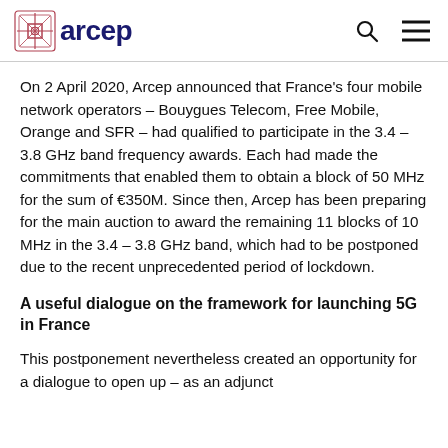arcep
On 2 April 2020, Arcep announced that France's four mobile network operators – Bouygues Telecom, Free Mobile, Orange and SFR – had qualified to participate in the 3.4 – 3.8 GHz band frequency awards. Each had made the commitments that enabled them to obtain a block of 50 MHz for the sum of €350M. Since then, Arcep has been preparing for the main auction to award the remaining 11 blocks of 10 MHz in the 3.4 – 3.8 GHz band, which had to be postponed due to the recent unprecedented period of lockdown.
A useful dialogue on the framework for launching 5G in France
This postponement nevertheless created an opportunity for a dialogue to open up – as an adjunct